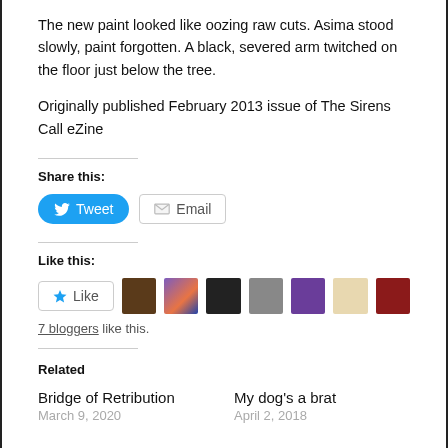The new paint looked like oozing raw cuts. Asima stood slowly, paint forgotten. A black, severed arm twitched on the floor just below the tree.
Originally published February 2013 issue of The Sirens Call eZine
Share this:
Tweet   Email
Like this:
Like   [7 blogger avatars]
7 bloggers like this.
Related
Bridge of Retribution
March 9, 2020
My dog's a brat
April 2, 2018